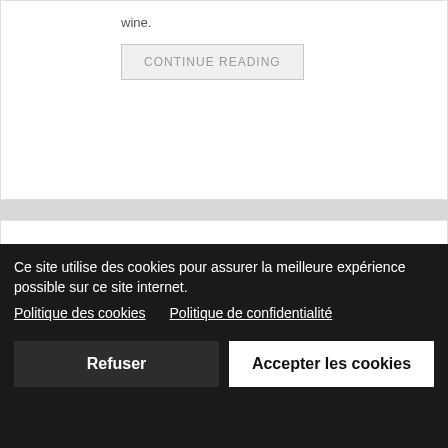wine.
CONTINUE READING
PORTRAIT OF "BOURGOGNE AUJOURD'HUI" N°100 - GUILLAUME
06 Jun 2011
Ce site utilise des cookies pour assurer la meilleure expérience possible sur ce site internet.
Politique des cookies   Politique de confidentialité
Refuser
Accepter les cookies